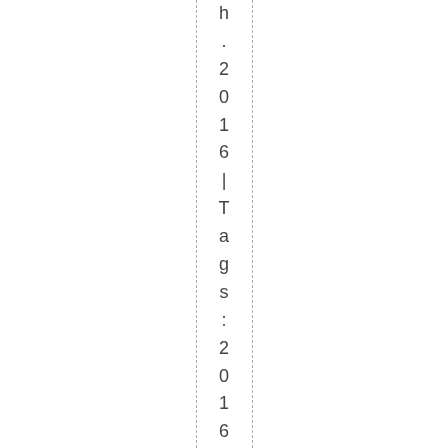h .2016 | Tags: 2016 .2016 Top p